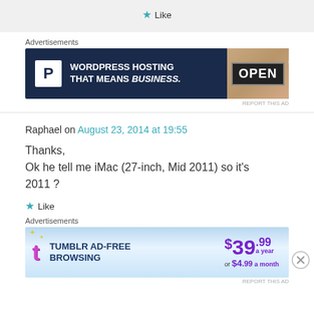★ Like
Advertisements
[Figure (screenshot): WordPress hosting advertisement banner: dark navy background with white P logo box, text 'WORDPRESS HOSTING THAT MEANS BUSINESS.' and an open sign photo on the right]
REPORT THIS AD
Raphael on August 23, 2014 at 19:55
Thanks,
Ok he tell me iMac (27-inch, Mid 2011) so it's 2011 ?
★ Like
Advertisements
[Figure (screenshot): Tumblr ad-free browsing advertisement: light blue gradient background, Tumblr T logo, text 'TUMBLR AD-FREE BROWSING', price $39.99 a year or $4.99 a month]